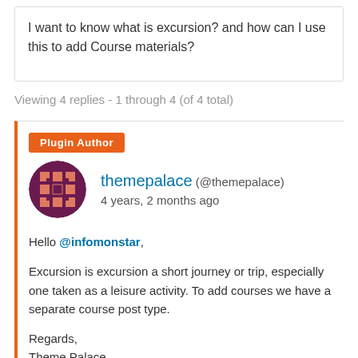I want to know what is excursion? and how can I use this to add Course materials?
Viewing 4 replies - 1 through 4 (of 4 total)
Plugin Author
themepalace (@themepalace)
4 years, 2 months ago
Hello @infomonstar,

Excursion is excursion a short journey or trip, especially one taken as a leisure activity. To add courses we have a separate course post type.

Regards,
Theme Palace